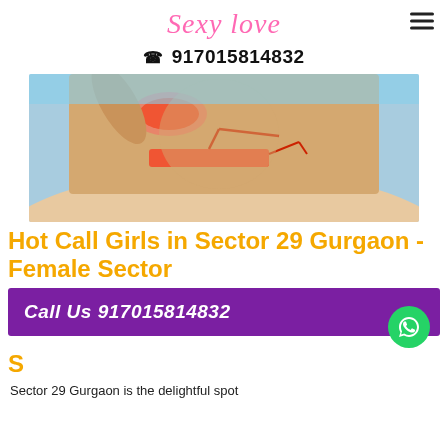Sexy Love
☎ 917015814832
[Figure (photo): Photo of a person in a red bikini on a beach]
Hot Call Girls in Sector 29 Gurgaon - Female Sector
Call Us 917015814832
Sector 29 Gurgaon is the delightful spot